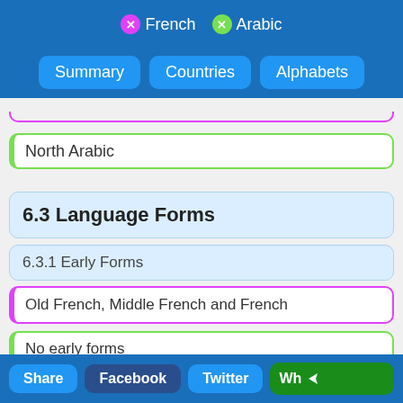X French  X Arabic
Summary  Countries  Alphabets
North Arabic
6.3 Language Forms
6.3.1 Early Forms
Old French, Middle French and French
No early forms
6.3.2 Standard Forms
Standard French
Modern Standard Arabic
Share  Facebook  Twitter  Wh...